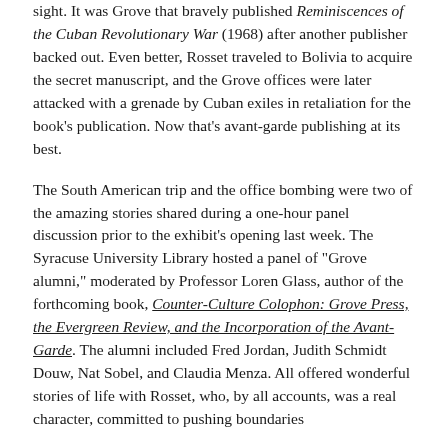sight. It was Grove that bravely published Reminiscences of the Cuban Revolutionary War (1968) after another publisher backed out. Even better, Rosset traveled to Bolivia to acquire the secret manuscript, and the Grove offices were later attacked with a grenade by Cuban exiles in retaliation for the book's publication. Now that's avant-garde publishing at its best.
The South American trip and the office bombing were two of the amazing stories shared during a one-hour panel discussion prior to the exhibit's opening last week. The Syracuse University Library hosted a panel of "Grove alumni," moderated by Professor Loren Glass, author of the forthcoming book, Counter-Culture Colophon: Grove Press, the Evergreen Review, and the Incorporation of the Avant-Garde. The alumni included Fred Jordan, Judith Schmidt Douw, Nat Sobel, and Claudia Menza. All offered wonderful stories of life with Rosset, who, by all accounts, was a real character, committed to pushing boundaries